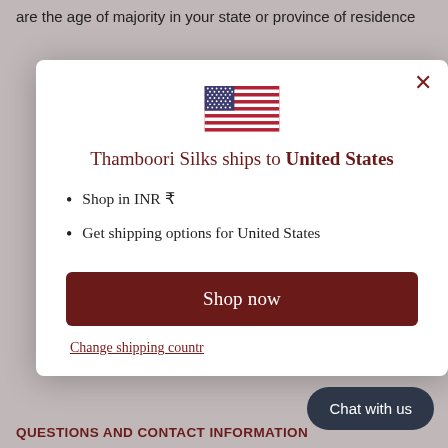are the age of majority in your state or province of residence
[Figure (screenshot): Modal dialog showing US flag, shipping country selector for Thamboori Silks to United States, with Shop now button and Change shipping country link]
Shop in INR ₹
Get shipping options for United States
QUESTIONS AND CONTACT INFORMATION